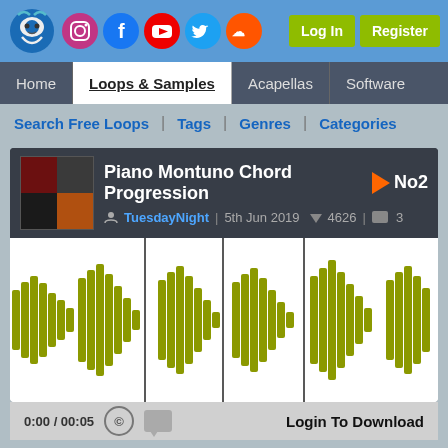Logo, social icons (Instagram, Facebook, YouTube, Twitter, SoundCloud), Log In, Register buttons
Home | Loops & Samples | Acapellas | Software
Search Free Loops | Tags | Genres | Categories
Piano Montuno Chord Progression No2
TuesdayNight | 5th Jun 2019 | 4626 downloads | 3 comments
[Figure (continuous-plot): Waveform visualization of the Piano Montuno Chord Progression No2 audio sample, showing olive/yellow-green amplitude waveform with 4 vertical bar markers on a white background.]
0:00 / 00:05 | © | comment icon | Login To Download